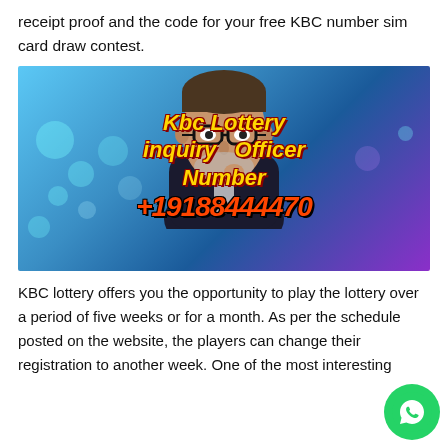receipt proof and the code for your free KBC number sim card draw contest.
[Figure (photo): Photo of a man with glasses and grey beard wearing a dark suit, overlaid with text 'Kbc Lottery inquiry Officer Number +19188444470' in yellow/orange bold italic font on a blue bokeh background]
KBC lottery offers you the opportunity to play the lottery over a period of five weeks or for a month. As per the schedule posted on the website, the players can change their registration to another week. One of the most interesting